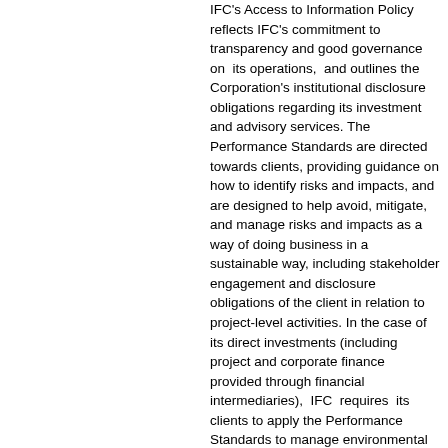IFC's Access to Information Policy reflects IFC's commitment to transparency and good governance on its operations, and outlines the Corporation's institutional disclosure obligations regarding its investment and advisory services. The Performance Standards are directed towards clients, providing guidance on how to identify risks and impacts, and are designed to help avoid, mitigate, and manage risks and impacts as a way of doing business in a sustainable way, including stakeholder engagement and disclosure obligations of the client in relation to project-level activities. In the case of its direct investments (including project and corporate finance provided through financial intermediaries), IFC requires its clients to apply the Performance Standards to manage environmental